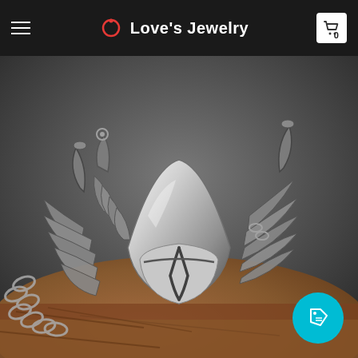Love's Jewelry
[Figure (photo): Close-up product photo of a silver stainless steel biker pendant/charm featuring a winged knight helmet design with chain, resting on a wooden/rock surface. The piece shows intricate detailing with wing-like ribbed extensions and a polished metallic visor-style center piece.]